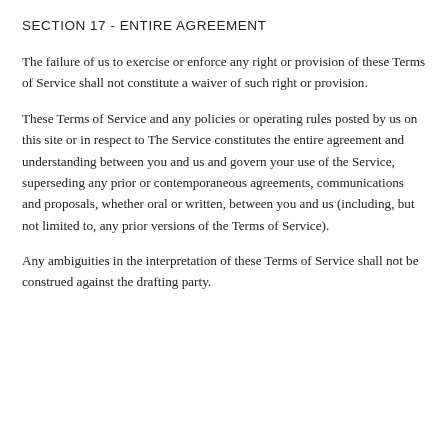SECTION 17 - ENTIRE AGREEMENT
The failure of us to exercise or enforce any right or provision of these Terms of Service shall not constitute a waiver of such right or provision.
These Terms of Service and any policies or operating rules posted by us on this site or in respect to The Service constitutes the entire agreement and understanding between you and us and govern your use of the Service, superseding any prior or contemporaneous agreements, communications and proposals, whether oral or written, between you and us (including, but not limited to, any prior versions of the Terms of Service).
Any ambiguities in the interpretation of these Terms of Service shall not be construed against the drafting party.